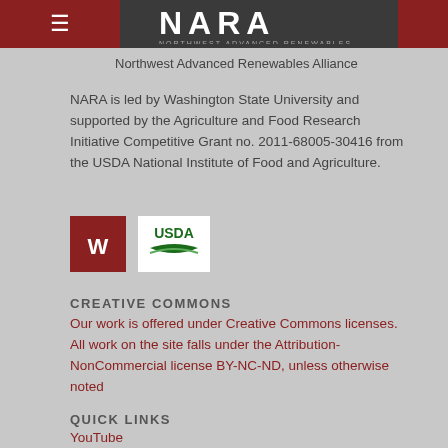[Figure (logo): NARA (Northwest Advanced Renewables Alliance) website header with hamburger menu icon on dark red background, NARA text logo on dark background, red strip on right]
Northwest Advanced Renewables Alliance
NARA is led by Washington State University and supported by the Agriculture and Food Research Initiative Competitive Grant no. 2011-68005-30416 from the USDA National Institute of Food and Agriculture.
[Figure (logo): WSU cougar logo on dark red background and USDA logo on white background]
CREATIVE COMMONS
Our work is offered under Creative Commons licenses. All work on the site falls under the Attribution-NonCommercial license BY-NC-ND, unless otherwise noted
QUICK LINKS
YouTube